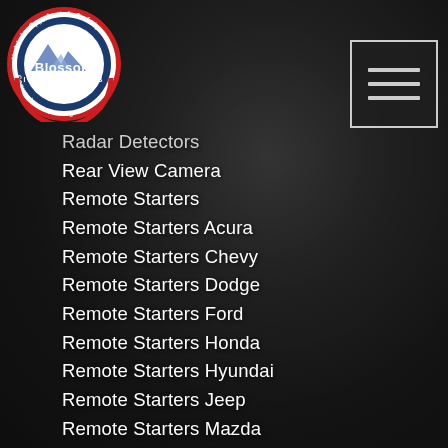[Figure (logo): Blossom Installations circular logo with blue and red border, mountain graphic, text: Vehicle Comfort & Safety, Pocono Mts PA, Blossom Installations, Convenience & Integration]
[Figure (other): Hamburger menu icon (three horizontal lines) inside a rectangular border]
Radar Detectors
Rear View Camera
Remote Starters
Remote Starters Acura
Remote Starters Chevy
Remote Starters Dodge
Remote Starters Ford
Remote Starters Honda
Remote Starters Hyundai
Remote Starters Jeep
Remote Starters Mazda
Remote Starters Mercedes Benz
Remote Starters Mitsubishi
Remote Starters Nissan